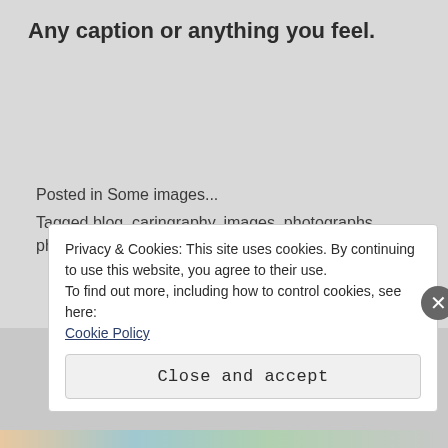Any caption or anything you feel.
Posted in Some images...
Tagged blog, caringraphy, images, photographs, photography, street photography, street.
Privacy & Cookies: This site uses cookies. By continuing to use this website, you agree to their use.
To find out more, including how to control cookies, see here: Cookie Policy
Close and accept